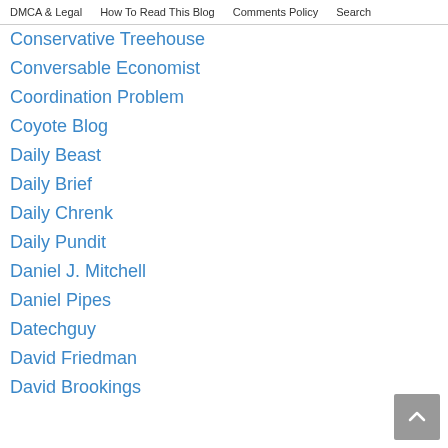DMCA & Legal | How To Read This Blog | Comments Policy | Search
Conservative Treehouse
Conversable Economist
Coordination Problem
Coyote Blog
Daily Beast
Daily Brief
Daily Chrenk
Daily Pundit
Daniel J. Mitchell
Daniel Pipes
Datechguy
David Friedman
David Brookings